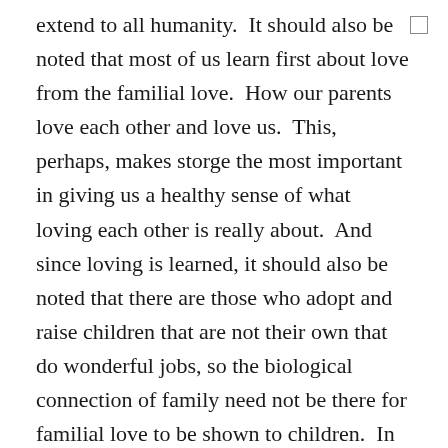extend to all humanity.  It should also be noted that most of us learn first about love from the familial love.  How our parents love each other and love us.  This, perhaps, makes storge the most important in giving us a healthy sense of what loving each other is really about.  And since loving is learned, it should also be noted that there are those who adopt and raise children that are not their own that do wonderful jobs, so the biological connection of family need not be there for familial love to be shown to children.  In fact one of the strongest cross-cultural morals we have is protecting children from harm, so it's not surprising that love and bonding can occur between adults and children who are not their own.